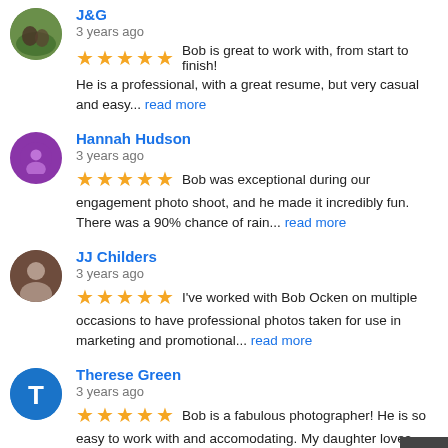J&G
3 years ago
Bob is great to work with, from start to finish!  He is a professional, with a great resume, but very casual and easy... read more
Hannah Hudson
3 years ago
Bob was exceptional during our engagement photo shoot, and he made it incredibly fun. There was a 90% chance of rain... read more
JJ Childers
3 years ago
I've worked with Bob Ocken on multiple occasions to have professional photos taken for use in marketing and promotional... read more
Therese Green
3 years ago
Bob is a fabulous photographer! He is so easy to work with and accomodating. My daughter loves her